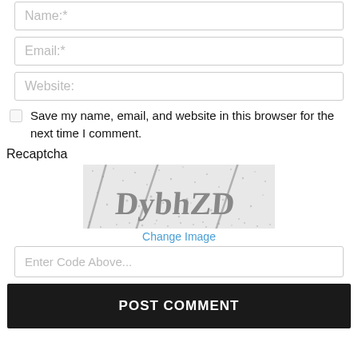Name:*
Email:*
Website:
Save my name, email, and website in this browser for the next time I comment.
Recaptcha
[Figure (other): CAPTCHA image showing distorted text 'DybhZD' with noise and diagonal lines]
Change Image
Enter Code Above...
POST COMMENT